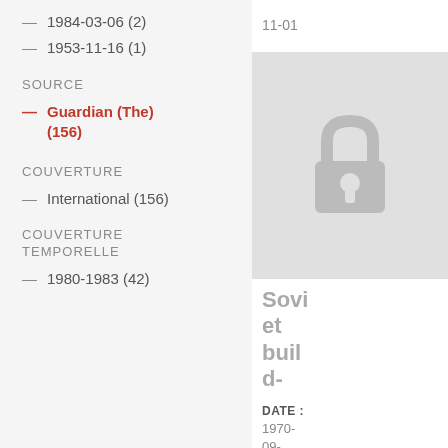— 1984-03-06 (2)
— 1953-11-16 (1)
SOURCE
— Guardian (The) (156)
COUVERTURE
— International (156)
COUVERTURE TEMPORELLE
— 1980-1983 (42)
11-01
[Figure (illustration): A padlock icon on a grey background indicating locked/restricted content]
Soviet buil d-
DATE : 1970-09-28